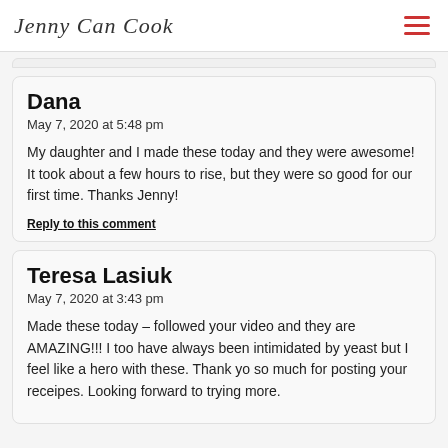Jenny Can Cook
Dana
May 7, 2020 at 5:48 pm
My daughter and I made these today and they were awesome! It took about a few hours to rise, but they were so good for our first time. Thanks Jenny!
Reply to this comment
Teresa Lasiuk
May 7, 2020 at 3:43 pm
Made these today – followed your video and they are AMAZING!!! I too have always been intimidated by yeast but I feel like a hero with these. Thank yo so much for posting your receipes. Looking forward to trying more.